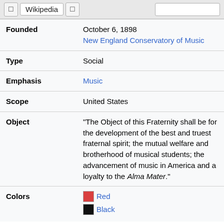Wikipedia
| Field | Value |
| --- | --- |
| Founded | October 6, 1898
New England Conservatory of Music |
| Type | Social |
| Emphasis | Music |
| Scope | United States |
| Object | "The Object of this Fraternity shall be for the development of the best and truest fraternal spirit; the mutual welfare and brotherhood of musical students; the advancement of music in America and a loyalty to the Alma Mater." |
| Colors | Red
Black |